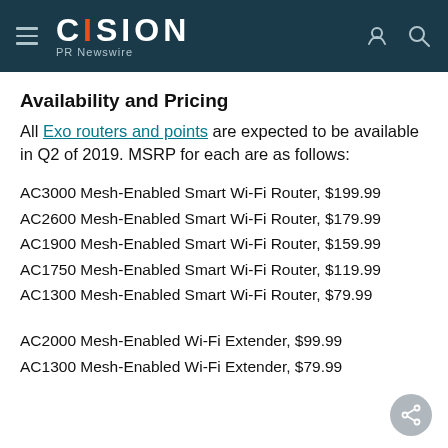CISION PR Newswire
Availability and Pricing
All Exo routers and points are expected to be available in Q2 of 2019. MSRP for each are as follows:
AC3000 Mesh-Enabled Smart Wi-Fi Router, $199.99
AC2600 Mesh-Enabled Smart Wi-Fi Router, $179.99
AC1900 Mesh-Enabled Smart Wi-Fi Router, $159.99
AC1750 Mesh-Enabled Smart Wi-Fi Router, $119.99
AC1300 Mesh-Enabled Smart Wi-Fi Router, $79.99
AC2000 Mesh-Enabled Wi-Fi Extender, $99.99
AC1300 Mesh-Enabled Wi-Fi Extender, $79.99